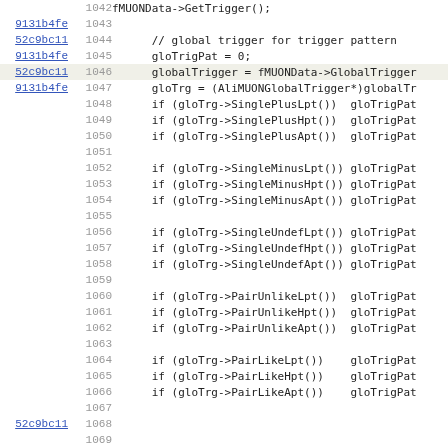Source code viewer showing lines 1042-1074 of a C++ file related to MUON trigger pattern processing in AliRoot framework. Commit annotations (9131b4fe, 52c9bc11, 276c44b7) appear on left. Code includes global trigger pattern filling via gloTrg methods (SinglePlusLpt, SinglePlusHpt, SinglePlusApt, SingleMinusLpt, SingleMinusHpt, SingleMinusApt, SingleUndefLpt, SingleUndefHpt, SingleUndefApt, PairUnlikeLpt, PairUnlikeHpt, PairUnlikeApt, PairLikeLpt, PairLikeHpt, PairLikeApt) and local trigger for tracking setup.